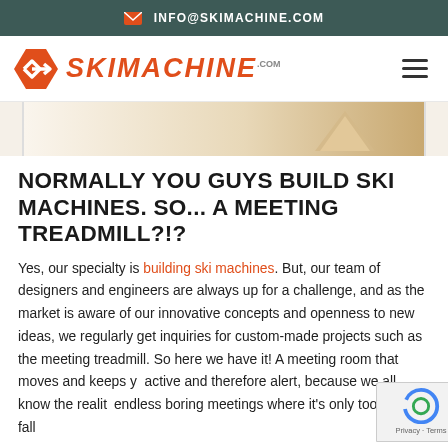INFO@SKIMACHINE.COM
[Figure (logo): SkiMachine.com logo with orange hexagon arrow icon and orange bold italic text reading SKIMACHINE.com, plus hamburger menu icon on right]
[Figure (photo): Partial hero image showing a light wood-colored surface or ski machine component on white/cream background]
NORMALLY YOU GUYS BUILD SKI MACHINES. SO... A MEETING TREADMILL?!?
Yes, our specialty is building ski machines. But, our team of designers and engineers are always up for a challenge, and as the market is aware of our innovative concepts and openness to new ideas, we regularly get inquiries for custom-made projects such as the meeting treadmill. So here we have it! A meeting room that moves and keeps you active and therefore alert, because we all know the reality of endless boring meetings where it's only too easy to fall